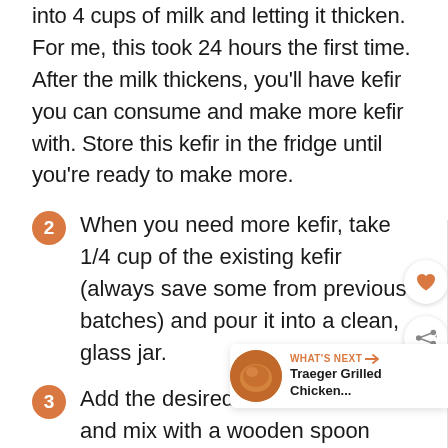into 4 cups of milk and letting it thicken. For me, this took 24 hours the first time. After the milk thickens, you’ll have kefir you can consume and make more kefir with. Store this kefir in the fridge until you’re ready to make more.
2 When you need more kefir, take 1/4 cup of the existing kefir (always save some from previous batches) and pour it into a clean, glass jar.
3 Add the desired amount of milk and mix with a wooden spoon